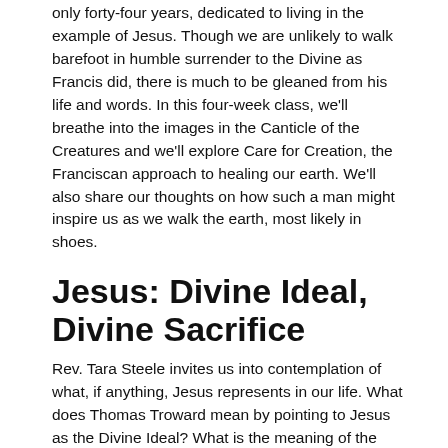only forty-four years, dedicated to living in the example of Jesus. Though we are unlikely to walk barefoot in humble surrender to the Divine as Francis did, there is much to be gleaned from his life and words. In this four-week class, we'll breathe into the images in the Canticle of the Creatures and we'll explore Care for Creation, the Franciscan approach to healing our earth. We'll also share our thoughts on how such a man might inspire us as we walk the earth, most likely in shoes.
Jesus: Divine Ideal, Divine Sacrifice
Rev. Tara Steele invites us into contemplation of what, if anything, Jesus represents in our life. What does Thomas Troward mean by pointing to Jesus as the Divine Ideal? What is the meaning of the death of Jesus? There will be readings from Troward, Ernest Holmes, and possibly others as well as much lively discussion.
Awakening To...